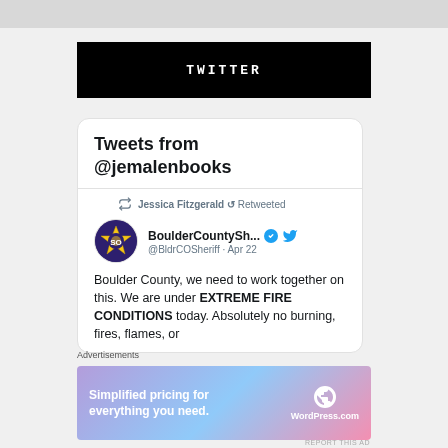[Figure (other): Gray map strip at top of page]
TWITTER
Tweets from @jemalenbooks
Jessica Fitzgerald ↺ Retweeted
BoulderCountySh... @BldrCOSheriff · Apr 22
Boulder County, we need to work together on this. We are under EXTREME FIRE CONDITIONS today. Absolutely no burning, fires, flames, or
Advertisements
[Figure (infographic): WordPress.com advertisement: Simplified pricing for everything you need.]